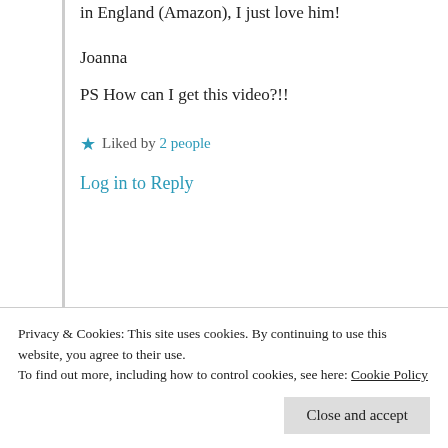in England (Amazon), I just love him!
Joanna
PS How can I get this video?!!
★ Liked by 2 people
Log in to Reply
Suma Reddy
Privacy & Cookies: This site uses cookies. By continuing to use this website, you agree to their use. To find out more, including how to control cookies, see here: Cookie Policy
Close and accept
making it more beautiful. I am